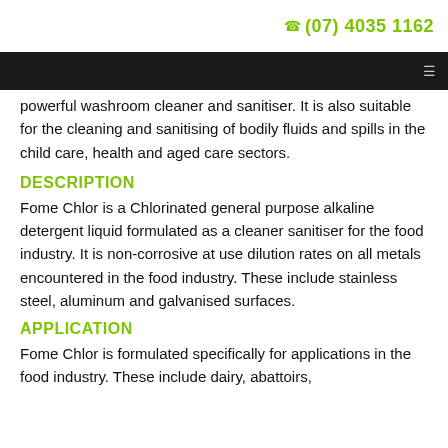☎ (07) 4035 1162
powerful washroom cleaner and sanitiser. It is also suitable for the cleaning and sanitising of bodily fluids and spills in the child care, health and aged care sectors.
DESCRIPTION
Fome Chlor is a Chlorinated general purpose alkaline detergent liquid formulated as a cleaner sanitiser for the food industry. It is non-corrosive at use dilution rates on all metals encountered in the food industry. These include stainless steel, aluminum and galvanised surfaces.
APPLICATION
Fome Chlor is formulated specifically for applications in the food industry. These include dairy, abattoirs,